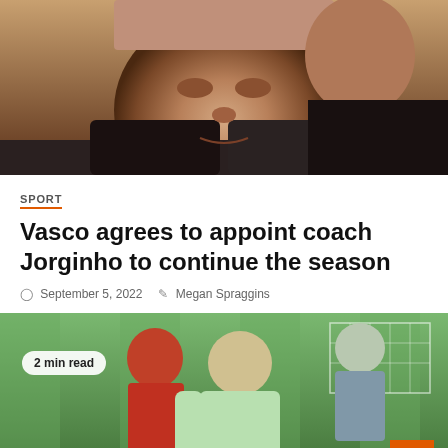[Figure (photo): Close-up photo of an older man's face, likely a football coach, looking serious. Another person partially visible behind him wearing a dark jacket.]
SPORT
Vasco agrees to appoint coach Jorginho to continue the season
September 5, 2022   Megan Spraggins
[Figure (photo): Photo of a Palmeiras football player in a light green/mint kit with 'crefisa' sponsor, dribbling during a training session. Another player in red is visible behind. A football goal and green pitch in the background. A '2 min read' badge overlays the top-left corner. An orange back-to-top button is in the bottom-right corner.]